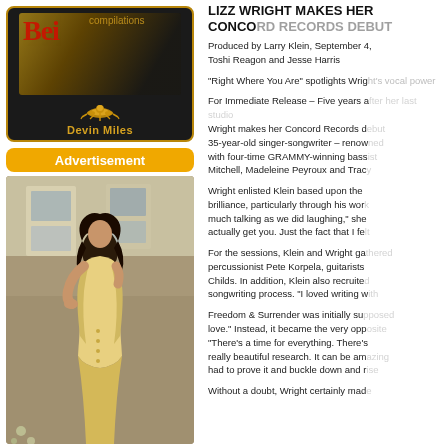[Figure (illustration): Dark album cover with golden/red text and lizard logo, labeled Devin Miles]
[Figure (photo): Advertisement photo of a woman in a golden/cream dress posing in a ruined building]
LIZZ WRIGHT MAKES HER CONCORD RECORDS DEBUT WITH FREEDOM & SURRENDER
Produced by Larry Klein, September 4, Featuring Toshi Reagon and Jesse Harris
“Right Where You Are” spotlights Wright’s vocal range
For Immediate Release – Five years after her last studio album, Lizz Wright makes her Concord Records debut with Freedom & Surrender. The 35-year-old singer-songwriter – renowned for her stunning voice – reconnects with four-time GRAMMY-winning bassist/producer Larry Klein (Herbie Hancock, Joni Mitchell, Madeleine Peyroux and Tracy Chapman).
Wright enlisted Klein based upon the producer’s reputation for musical brilliance, particularly through his work with Joni Mitchell. “We did as much talking as we did laughing,” she said. “You have to connect with someone that can actually get you. Just the fact that I felt seen was enough to move forward.”
For the sessions, Klein and Wright gathered drummer Harvey Mason, percussionist Pete Korpela, guitarists Dean Parks and Freddie Washington, and Judy Childs. In addition, Klein also recruited Jesse Harris and Toshi Reagon into the songwriting process. “I loved writing with them,” said Wright.
Freedom & Surrender was initially supposed to be “an album about romantic love.” Instead, it became the very opposite. Wright explains the shift by saying, “There’s a time for everything. There’s really beautiful pain. There is really beautiful research. It can be amazing to push yourself, to feel that you had to prove it and buckle down and rise to the occasion.”
Without a doubt, Wright certainly made a masterful album.